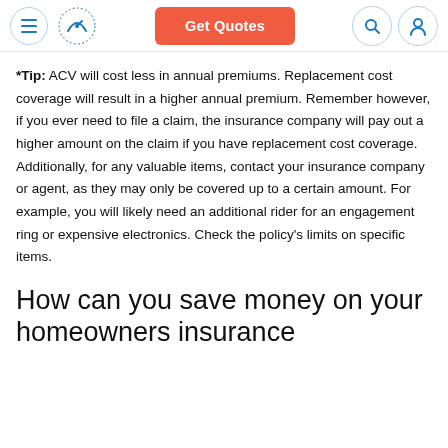Get Quotes
*Tip: ACV will cost less in annual premiums. Replacement cost coverage will result in a higher annual premium. Remember however, if you ever need to file a claim, the insurance company will pay out a higher amount on the claim if you have replacement cost coverage. Additionally, for any valuable items, contact your insurance company or agent, as they may only be covered up to a certain amount. For example, you will likely need an additional rider for an engagement ring or expensive electronics. Check the policy's limits on specific items.
How can you save money on your homeowners insurance